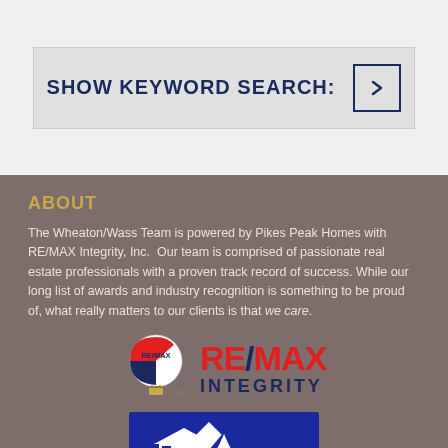SHOW KEYWORD SEARCH:
ABOUT
The Wheaton/Wass Team is powered by Pikes Peak Homes with RE/MAX Integrity, Inc. Our team is comprised of passionate real estate professionals with a proven track record of success. While our long list of awards and industry recognition is something to be proud of, what really matters to our clients is that we care.
[Figure (logo): RE/MAX Integrity logo with hot air balloon icon and bold RE/MAX text in red and blue, INTEGRITY in blue below]
[Figure (logo): Pikes Peak Homes logo showing a house with mountains in blue and white at the bottom of the page]